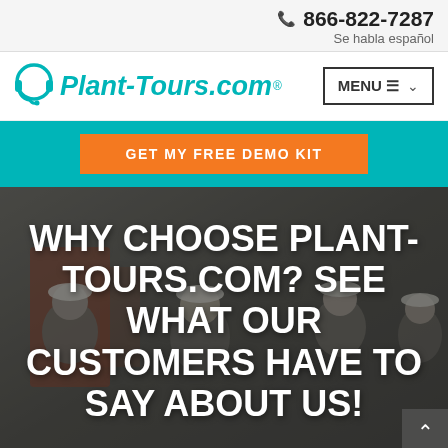866-822-7287 Se habla español
[Figure (logo): Plant-Tours.com logo with headset icon in teal italic font]
MENU
GET MY FREE DEMO KIT
[Figure (photo): Dark blurred photo of factory/plant workers wearing white hard hats in an industrial setting]
WHY CHOOSE PLANT-TOURS.COM? SEE WHAT OUR CUSTOMERS HAVE TO SAY ABOUT US!